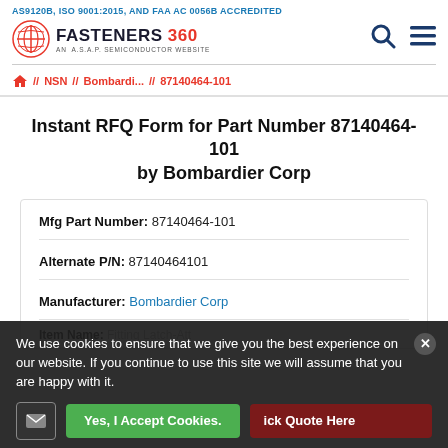AS9120B, ISO 9001:2015, AND FAA AC 0056B ACCREDITED
[Figure (logo): Fasteners 360 logo — An A.S.A.P Semiconductor Website, with search and menu icons]
Home // NSN // Bombardi... // 87140464-101
Instant RFQ Form for Part Number 87140464-101 by Bombardier Corp
Mfg Part Number: 87140464-101
Alternate P/N: 87140464101
Manufacturer: Bombardier Corp
Item Name: Fitting Latch-Att
We use cookies to ensure that we give you the best experience on our website. If you continue to use this site we will assume that you are happy with it.